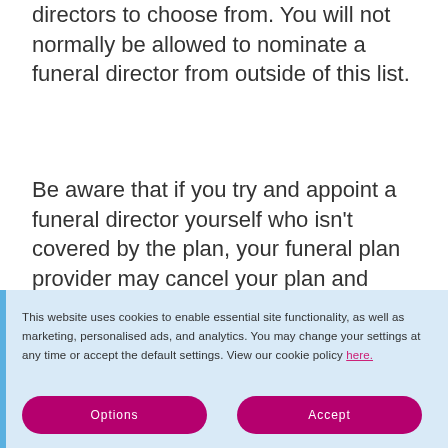directors to choose from. You will not normally be allowed to nominate a funeral director from outside of this list.
Be aware that if you try and appoint a funeral director yourself who isn't covered by the plan, your funeral plan provider may cancel your plan and charge you a cancellation fee.
This website uses cookies to enable essential site functionality, as well as marketing, personalised ads, and analytics. You may change your settings at any time or accept the default settings. View our cookie policy here.
Options
Accept